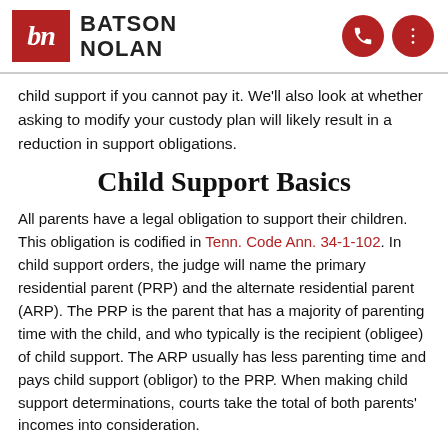BATSON NOLAN
child support if you cannot pay it. We’ll also look at whether asking to modify your custody plan will likely result in a reduction in support obligations.
Child Support Basics
All parents have a legal obligation to support their children. This obligation is codified in Tenn. Code Ann. 34-1-102. In child support orders, the judge will name the primary residential parent (PRP) and the alternate residential parent (ARP). The PRP is the parent that has a majority of parenting time with the child, and who typically is the recipient (obligee) of child support. The ARP usually has less parenting time and pays child support (obligor) to the PRP. When making child support determinations, courts take the total of both parents’ incomes into consideration.